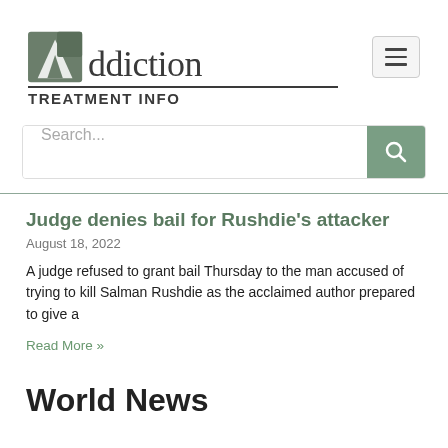[Figure (logo): Addiction Treatment Info logo with stylized letter A icon and text]
Search...
Judge denies bail for Rushdie's attacker
August 18, 2022
A judge refused to grant bail Thursday to the man accused of trying to kill Salman Rushdie as the acclaimed author prepared to give a
Read More »
World News